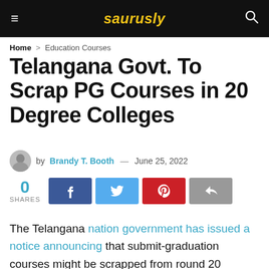saurusly
Home > Education Courses
Telangana Govt. To Scrap PG Courses in 20 Degree Colleges
by Brandy T. Booth — June 25, 2022
0 SHARES
The Telangana nation government has issued a notice announcing that submit-graduation courses might be scrapped from round 20 government diploma schools from the academic yr 2019-2020. PG courses were taught in 40 government diploma schools across the kind...until the next year...education...